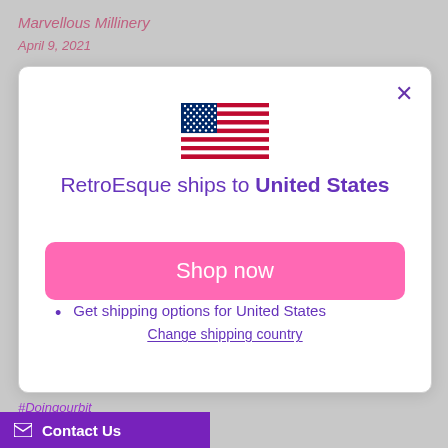Marvellous Millinery
April 9, 2021
[Figure (screenshot): Modal dialog showing US flag, shipping notification text 'RetroEsque ships to United States', bullet points for USD and shipping options, a pink 'Shop now' button, and a 'Change shipping country' link]
#Doingourbit
Contact Us